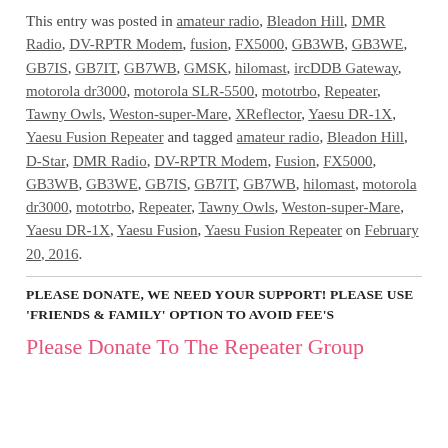This entry was posted in amateur radio, Bleadon Hill, DMR Radio, DV-RPTR Modem, fusion, FX5000, GB3WB, GB3WE, GB7IS, GB7IT, GB7WB, GMSK, hilomast, ircDDB Gateway, motorola dr3000, motorola SLR-5500, mototrbo, Repeater, Tawny Owls, Weston-super-Mare, XReflector, Yaesu DR-1X, Yaesu Fusion Repeater and tagged amateur radio, Bleadon Hill, D-Star, DMR Radio, DV-RPTR Modem, Fusion, FX5000, GB3WB, GB3WE, GB7IS, GB7IT, GB7WB, hilomast, motorola dr3000, mototrbo, Repeater, Tawny Owls, Weston-super-Mare, Yaesu DR-1X, Yaesu Fusion, Yaesu Fusion Repeater on February 20, 2016.
PLEASE DONATE, WE NEED YOUR SUPPORT! PLEASE USE 'FRIENDS & FAMILY' OPTION TO AVOID FEE'S
Please Donate To The Repeater Group